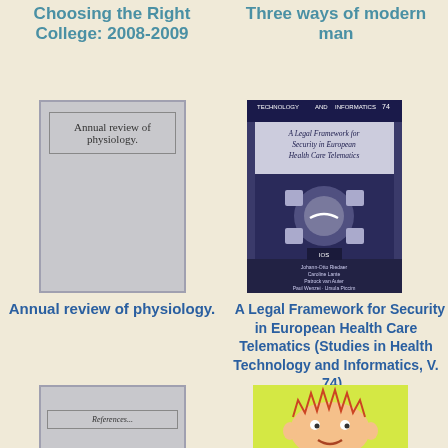Choosing the Right College: 2008-2009
Three ways of modern man
[Figure (illustration): Book cover placeholder for Annual review of physiology, grey cover with border and text]
[Figure (photo): Book cover for A Legal Framework for Security in European Health Care Telematics (Studies in Health Technology and Informatics, V. 74), showing a dark blue cover with handshake graphic and author names]
Annual review of physiology.
A Legal Framework for Security in European Health Care Telematics (Studies in Health Technology and Informatics, V. 74)
[Figure (illustration): Partially visible book cover with text 'References' at bottom of page]
[Figure (illustration): Partially visible colorful book cover at bottom right of page]